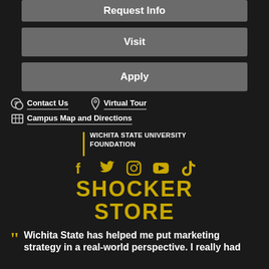Request Info
Visit
Apply
Contact Us
Virtual Tour
Campus Map and Directions
[Figure (logo): Wichita State University Foundation logo with gold vertical bar]
[Figure (infographic): Social media icons row: Facebook, Twitter, Instagram, YouTube, TikTok in gold]
SHOCKER STORE
Wichita State has helped me put marketing strategy in a real-world perspective. I really had